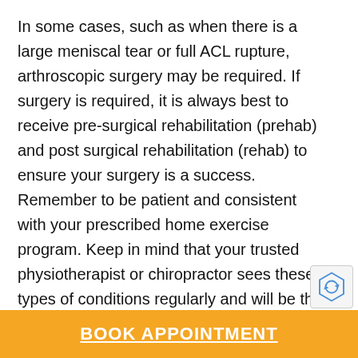In some cases, such as when there is a large meniscal tear or full ACL rupture, arthroscopic surgery may be required.  If surgery is required, it is always best to receive pre-surgical rehabilitation (prehab) and post surgical rehabilitation (rehab) to ensure your surgery is a success.  Remember to be patient and consistent with your prescribed home exercise program. Keep in mind that your trusted physiotherapist or chiropractor sees these types of conditions regularly and will be the best person to advise you on the best course of treatment. They will inform you if your symptoms are not progressing as expected and if you should book a consultation with a Sports Medicine doctor for further investigations or alternate treatment
BOOK APPOINTMENT